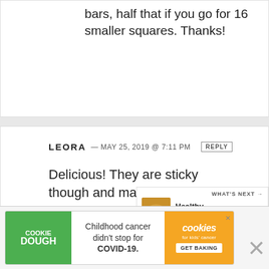bars, half that if you go for 16 smaller squares. Thanks!
LEORA — MAY 25, 2019 @ 7:11 PM  REPLY
Delicious! They are sticky though and may be easier to roll into balls than press into the pan. Still very much worth the effort!
★★★★★
[Figure (infographic): What's Next promo box showing Healthy Pumpkin Oa... with a photo of oat cookies]
[Figure (infographic): Cookie Dough advertisement: Childhood cancer didn't stop for COVID-19. Cookies for kids cancer GET BAKING]